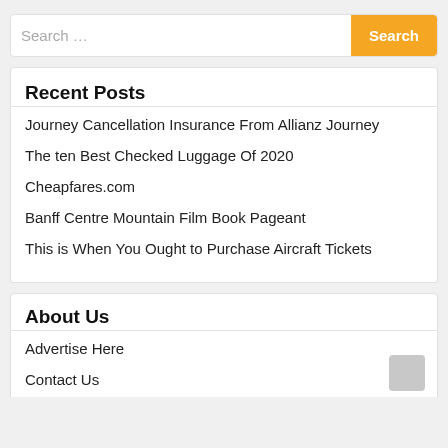Search ...
Recent Posts
Journey Cancellation Insurance From Allianz Journey
The ten Best Checked Luggage Of 2020
Cheapfares.com
Banff Centre Mountain Film Book Pageant
This is When You Ought to Purchase Aircraft Tickets
About Us
Advertise Here
Contact Us